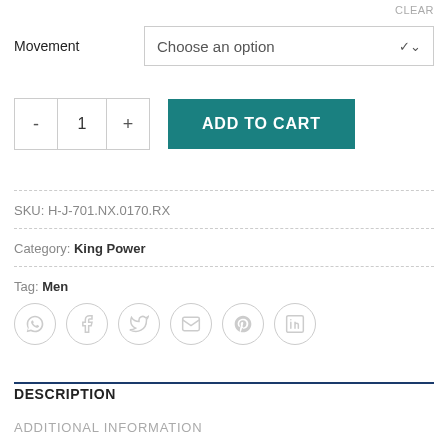CLEAR
Movement   Choose an option
ADD TO CART
SKU: H-J-701.NX.0170.RX
Category: King Power
Tag: Men
[Figure (infographic): Row of six social sharing icon circles: WhatsApp, Facebook, Twitter, Email, Pinterest, LinkedIn]
DESCRIPTION
ADDITIONAL INFORMATION